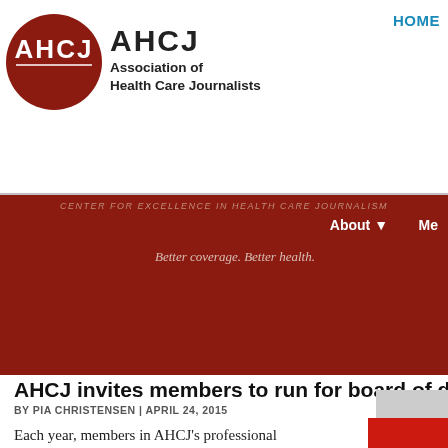HOME
[Figure (logo): AHCJ circular red logo with white text 'AHCJ' and full name 'Association of Health Care Journalists']
AHCJ news
AHCJ invites members to run for board of directors
BY PIA CHRISTENSEN | APRIL 24, 2015
Each year, members in AHCJ's professional category elect members for the association's board of directors. Six of the 12 director positions come up for election each